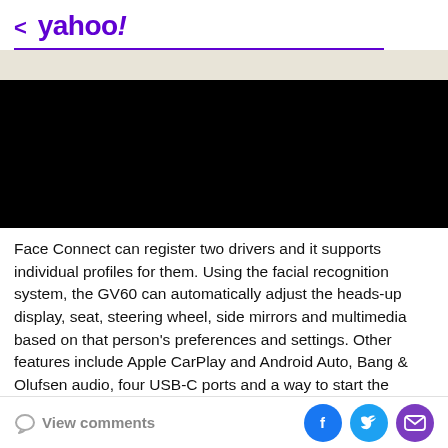< yahoo!
[Figure (photo): Black rectangle representing a video or image placeholder]
Face Connect can register two drivers and it supports individual profiles for them. Using the facial recognition system, the GV60 can automatically adjust the heads-up display, seat, steering wheel, side mirrors and multimedia based on that person's preferences and settings. Other features include Apple CarPlay and Android Auto, Bang & Olufsen audio, four USB-C ports and a way to start the
View comments